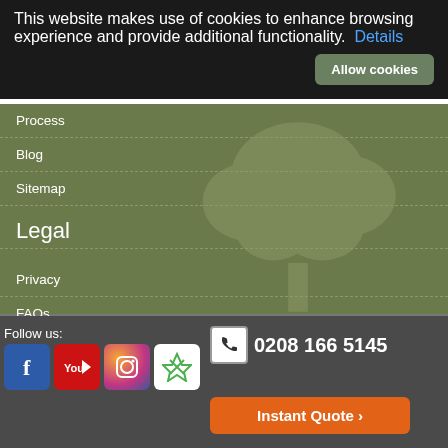This website makes use of cookies to enhance browsing experience and provide additional functionality. Details
Process
Blog
Sitemap
Legal
Privacy
FAQs
Image gallery
Follow us:
0208 166 5145
Instant Quote ›